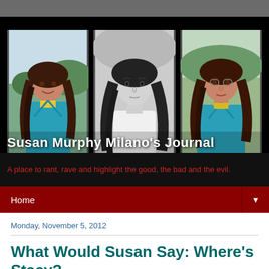[Figure (photo): Three photos of Susan Murphy Milano arranged side by side: left photo shows her smiling in a teal/blue blazer outdoors in color, middle photo is a black-and-white portrait with long dark hair, right photo shows her again in a teal blazer looking at camera in color. Overlaid text reads 'Susan Murphy Milano's Journal'.]
A place to rant, rave and highlight the good, the bad and the evil.
Home
Monday, November 5, 2012
What Would Susan Say: Where's Stacy?